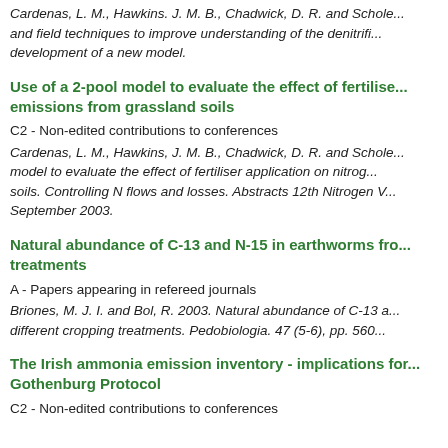Cardenas, L. M., Hawkins. J. M. B., Chadwick, D. R. and Schole... and field techniques to improve understanding of the denitrifi... development of a new model.
Use of a 2-pool model to evaluate the effect of fertilise... emissions from grassland soils
C2 - Non-edited contributions to conferences
Cardenas, L. M., Hawkins, J. M. B., Chadwick, D. R. and Schole... model to evaluate the effect of fertiliser application on nitrog... soils. Controlling N flows and losses. Abstracts 12th Nitrogen V... September 2003.
Natural abundance of C-13 and N-15 in earthworms fro... treatments
A - Papers appearing in refereed journals
Briones, M. J. I. and Bol, R. 2003. Natural abundance of C-13 a... different cropping treatments. Pedobiologia. 47 (5-6), pp. 560...
The Irish ammonia emission inventory - implications for... Gothenburg Protocol
C2 - Non-edited contributions to conferences